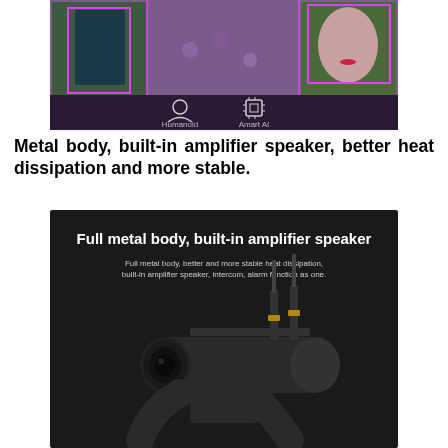[Figure (screenshot): AI camera tracking app screenshot showing person in lavender field with humanoid auto tracking and Smart AI labels, with pink detection boxes.]
Metal body, built-in amplifier speaker, better heat dissipation and more stable.
[Figure (photo): Dark background product photo of a full metal body security camera on a mount with two antennas, white text overlay: Full metal body, built-in amplifier speaker. Subtitle: Full metal body, better and more stable heat dissipation, built-in amplifier speaker, intercom, alarm function as one.]